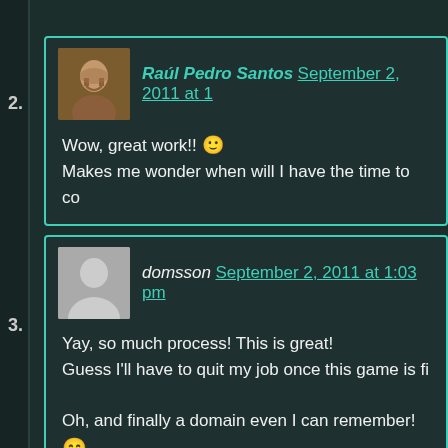2. Raúl Pedro Santos September 2, 2011 at 1... — Wow, great work!! :) Makes me wonder when will I have the time to co...
3. domsson September 2, 2011 at 1:03 pm — Yay, so much process! This is great! Guess I'll have to quit my job once this game is fi... Oh, and finally a domain even I can remember! :D